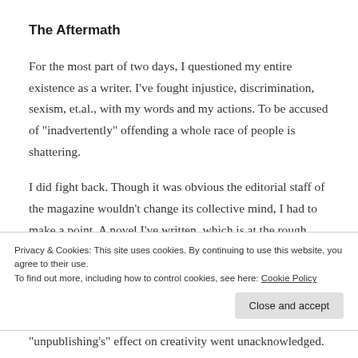The Aftermath
For the most part of two days, I questioned my entire existence as a writer. I’ve fought injustice, discrimination, sexism, et.al., with my words and my actions. To be accused of “inadvertently” offending a whole race of people is shattering.
I did fight back. Though it was obvious the editorial staff of the magazine wouldn’t change its collective mind, I had to make a point. A novel I’ve written, which is at the rough draft stage, features a transgender character. I’m a straight female who
Privacy & Cookies: This site uses cookies. By continuing to use this website, you agree to their use.
To find out more, including how to control cookies, see here: Cookie Policy
“unpublishing’s” effect on creativity went unacknowledged.